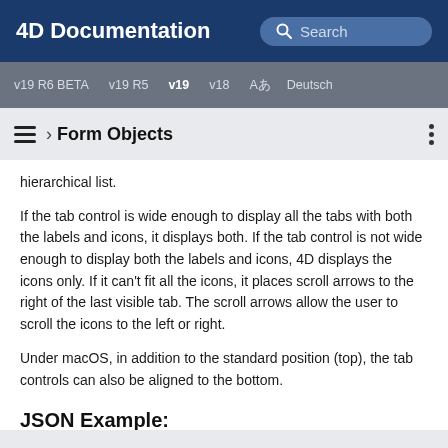4D Documentation
v19 R6 BETA  v19 R5  v19  v18  Aあ Deutsch
› Form Objects
hierarchical list.
If the tab control is wide enough to display all the tabs with both the labels and icons, it displays both. If the tab control is not wide enough to display both the labels and icons, 4D displays the icons only. If it can't fit all the icons, it places scroll arrows to the right of the last visible tab. The scroll arrows allow the user to scroll the icons to the left or right.
Under macOS, in addition to the standard position (top), the tab controls can also be aligned to the bottom.
JSON Example: